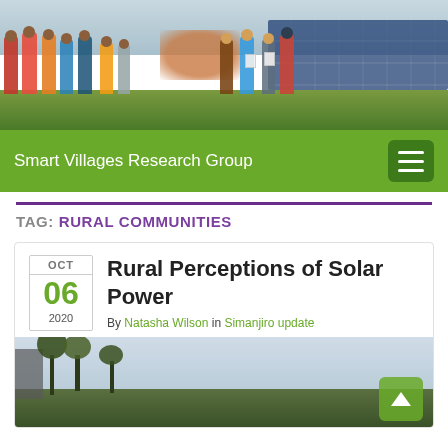[Figure (photo): Group of people standing in front of solar panels in an African landscape. People wearing traditional Maasai clothing on the left and western clothing on the right. Some holding papers/documents.]
Smart Villages Research Group
TAG: RURAL COMMUNITIES
Rural Perceptions of Solar Power
By Natasha Wilson in Simanjiro update
[Figure (photo): Photograph showing trees and vegetation against an overcast sky, with a structure partially visible on the left side.]